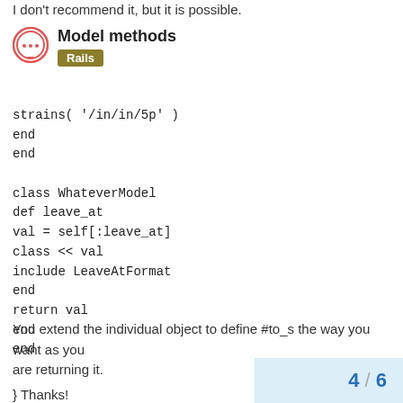I don't recommend it, but it is possible.
Model methods
Rails
strains( '/in/in/5p' )
end
end

class WhateverModel
def leave_at
val = self[:leave_at]
class << val
include LeaveAtFormat
end
return val
end
end
You extend the individual object to define #to_s the way you want as you are returning it.
} Thanks!
4 / 6